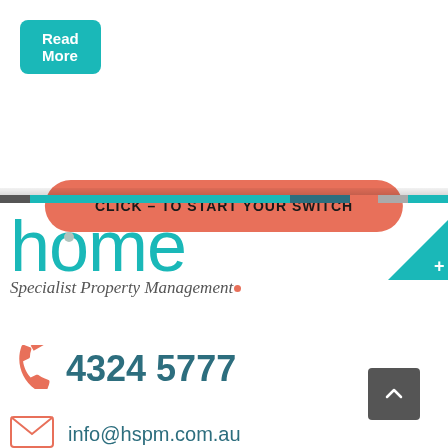Read More
CLICK – TO START YOUR SWITCH
[Figure (logo): Home Specialist Property Management logo with teal colored text and orange dot]
4324 5777
info@hspm.com.au